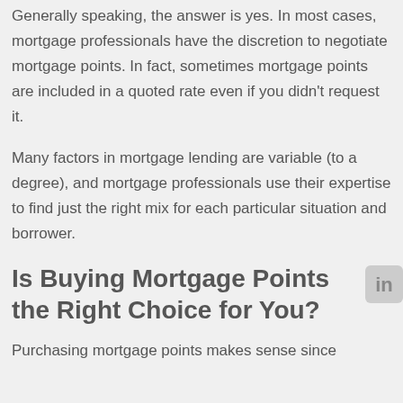Generally speaking, the answer is yes. In most cases, mortgage professionals have the discretion to negotiate mortgage points. In fact, sometimes mortgage points are included in a quoted rate even if you didn't request it.
Many factors in mortgage lending are variable (to a degree), and mortgage professionals use their expertise to find just the right mix for each particular situation and borrower.
Is Buying Mortgage Points the Right Choice for You?
Purchasing mortgage points makes sense since